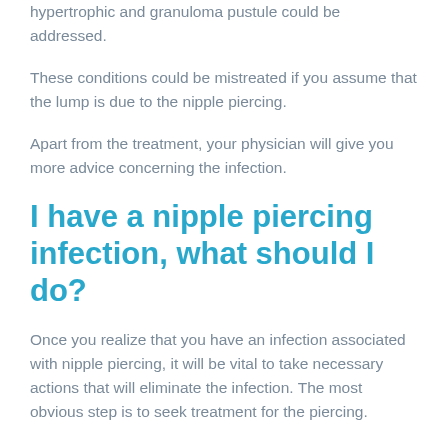hypertrophic and granuloma pustule could be addressed.
These conditions could be mistreated if you assume that the lump is due to the nipple piercing.
Apart from the treatment, your physician will give you more advice concerning the infection.
I have a nipple piercing infection, what should I do?
Once you realize that you have an infection associated with nipple piercing, it will be vital to take necessary actions that will eliminate the infection. The most obvious step is to seek treatment for the piercing.
As the rule of thumb dictates, the earlier you treat the infection, the better.